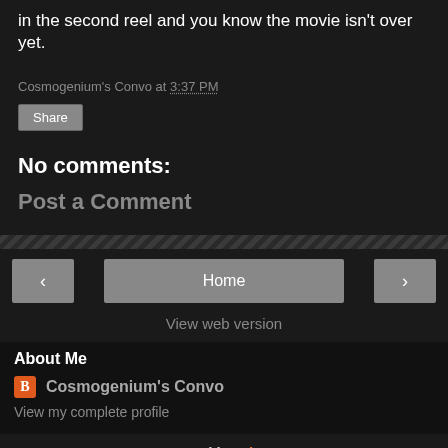in the second reel and you know the movie isn't over yet.
Cosmogenium's Convo at 3:37 PM
Share
No comments:
Post a Comment
Home
View web version
About Me
Cosmogenium's Convo
View my complete profile
Powered by Blogger.